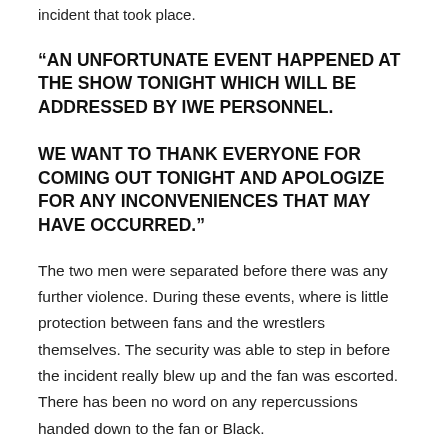incident that took place.
“AN UNFORTUNATE EVENT HAPPENED AT THE SHOW TONIGHT WHICH WILL BE ADDRESSED BY IWE PERSONNEL.

WE WANT TO THANK EVERYONE FOR COMING OUT TONIGHT AND APOLOGIZE FOR ANY INCONVENIENCES THAT MAY HAVE OCCURRED.”
The two men were separated before there was any further violence. During these events, where is little protection between fans and the wrestlers themselves. The security was able to step in before the incident really blew up and the fan was escorted. There has been no word on any repercussions handed down to the fan or Black.